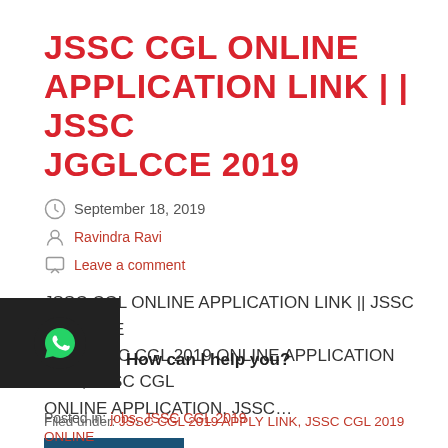JSSC CGL ONLINE APPLICATION LINK | | JSSC JGGLCCE 2019
September 18, 2019
Ravindra Ravi
Leave a comment
JSSC CGL ONLINE APPLICATION LINK || JSSC JGGLCCE 2019 JSSC CGL 2019 ONLINE APPLICATION LINK, JSSC CGL ONLINE APPLICATION, JSSC…
Continue Reading →
How can I help you?
Posted in: jobs, JSSC CGL 2019
Filed under: JSSC CGL 2019 APPLY LINK, JSSC CGL 2019 ONLINE